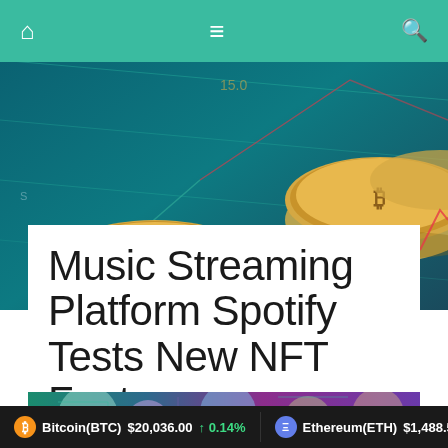Navigation bar with home, menu, and search icons
[Figure (photo): Cryptocurrency coins (Bitcoin gold coins) on a teal/dark blue financial chart background]
Music Streaming Platform Spotify Tests New NFT Features
Hassan Mehmood   June 11, 2022   0
[Figure (photo): Colorful abstract digital art image — partial view of article illustration]
Bitcoin(BTC) $20,036.00 ↑ 0.14%   Ethereum(ETH) $1,488.53